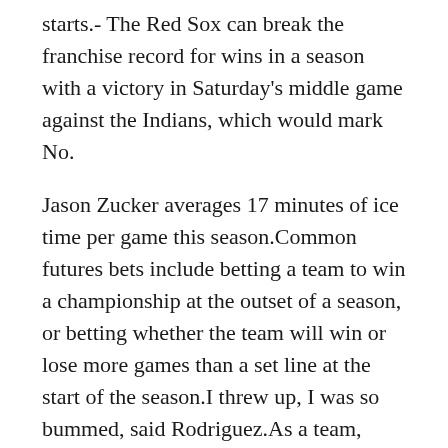starts.- The Red Sox can break the franchise record for wins in a season with a victory in Saturday's middle game against the Indians, which would mark No.
Jason Zucker averages 17 minutes of ice time per game this season.Common futures bets include betting a team to win a championship at the outset of a season, or betting whether the team will win or lose more games than a set line at the start of the season.I threw up, I was so bummed, said Rodriguez.As a team, Detroit allows 10 hits per nine innings while striking out 7 batters per nine innings.The breakfast menu of egg sandwiches and wraps is served all day.